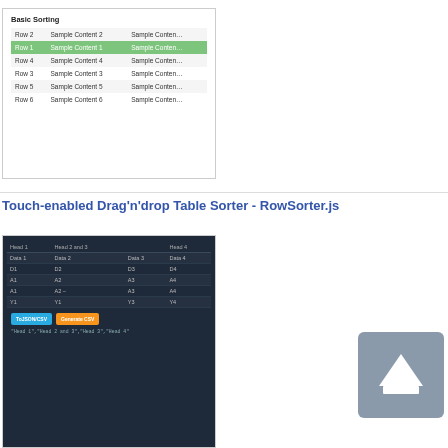[Figure (screenshot): Screenshot of a table with 'Basic Sorting' header showing rows: Row 2, Row 1 (highlighted green), Row 4, Row 3, Row 5, Row 6 with Sample Content columns]
Touch-enabled Drag'n'drop Table Sorter - RowSorter.js
[Figure (screenshot): Screenshot of a dark-themed table with headers Head 1, Head 2 and 3, Head 4, data rows, and ToJSON / Generate CSV buttons at bottom]